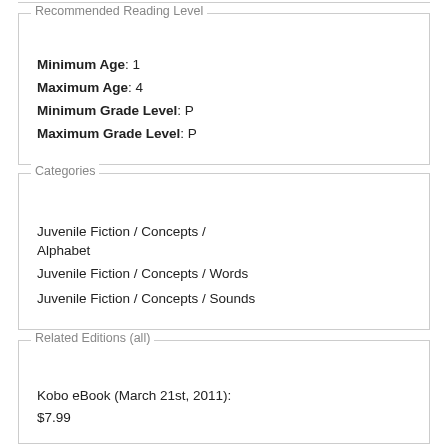Recommended Reading Level
Minimum Age: 1
Maximum Age: 4
Minimum Grade Level: P
Maximum Grade Level: P
Categories
Juvenile Fiction / Concepts / Alphabet
Juvenile Fiction / Concepts / Words
Juvenile Fiction / Concepts / Sounds
Related Editions (all)
Kobo eBook (March 21st, 2011): $7.99